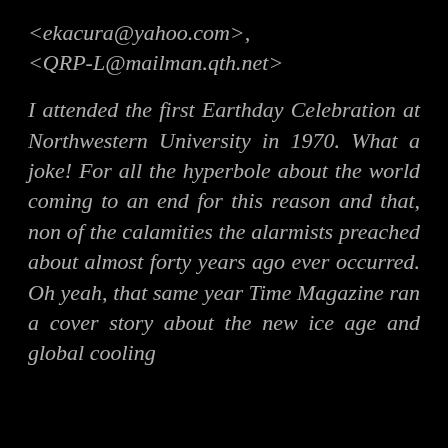<ekacura@yahoo.com>, <QRP-L@mailman.qth.net>
I attended the first Earthday Celebration at Northwestern University in 1970. What a joke! For all the hyperbole about the world coming to an end for this reason and that, non of the calamities the alarmists preached about almost forty years ago ever occurred. Oh yeah, that same year Time Magazine ran a cover story about the new ice age and global cooling